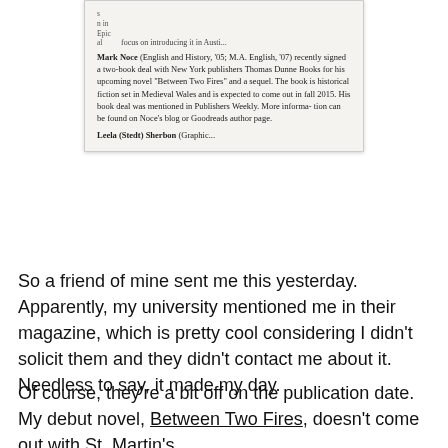[Figure (screenshot): A photograph/scan of a magazine page showing alumni news entries. Visible text includes a partial entry at the top (cut off), then a full entry for Mark Noce (English and History, '05; M.A. English, '07) who recently signed a two-book deal with New York publishers Thomas Dunne Books for his upcoming novel 'Between Two Fires' and a sequel. The book is historical fiction set in Medieval Wales and is expected to come out in fall 2015. His book deal was mentioned in Publishers Weekly. More information can be found on Noce's blog or Goodreads author page. At the bottom, a partial entry for Leela (Stedt) Sherbon (Graphic... cut off).]
So a friend of mine sent me this yesterday. Apparently, my university mentioned me in their magazine, which is pretty cool considering I didn't solicit them and they didn't contact me about it. Needless to say, it made my day.
Of course, they're a bit off on the publication date. My debut novel, Between Two Fires, doesn't come out with St. Martin's